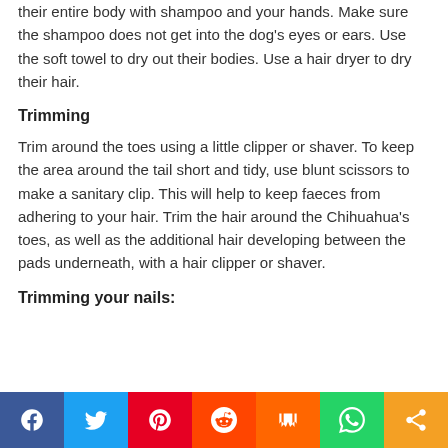their entire body with shampoo and your hands. Make sure the shampoo does not get into the dog's eyes or ears. Use the soft towel to dry out their bodies. Use a hair dryer to dry their hair.
Trimming
Trim around the toes using a little clipper or shaver. To keep the area around the tail short and tidy, use blunt scissors to make a sanitary clip. This will help to keep faeces from adhering to your hair. Trim the hair around the Chihuahua's toes, as well as the additional hair developing between the pads underneath, with a hair clipper or shaver.
Trimming your nails:
[Figure (other): Social sharing bar with icons for Facebook, Twitter, Pinterest, Reddit, Mix, WhatsApp, and Share]